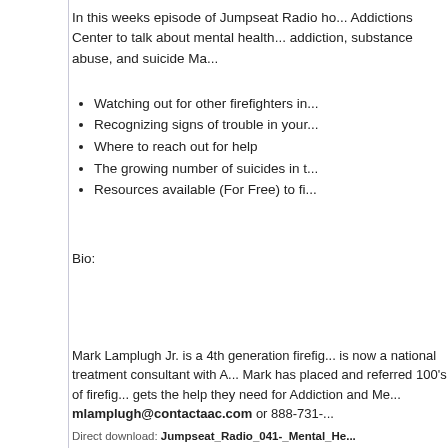In this weeks episode of Jumpseat Radio ho... Addictions Center to talk about mental health... addiction, substance abuse, and suicide Ma...
(bullet, empty)
Watching out for other firefighters in...
Recognizing signs of trouble in your...
Where to reach out for help
The growing number of suicides in t...
Resources available (For Free) to fi...
Bio:
Mark Lamplugh Jr. is a 4th generation firefig... is now a national treatment consultant with A... Mark has placed and referred 100's of firefig... gets the help they need for Addiction and Me... mlamplugh@contactaac.com or 888-731-...
Direct download: Jumpseat_Radio_041-_Mental_He... Category: general -- posted at: 9:11am EDT
Wed, 18 February 2015
Jumpseat Radio 04...